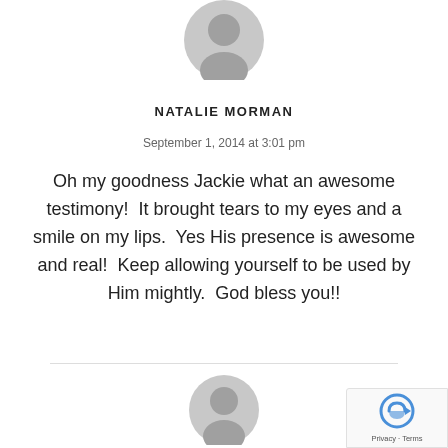[Figure (illustration): Gray default user avatar icon at top center]
NATALIE MORMAN
September 1, 2014 at 3:01 pm
Oh my goodness Jackie what an awesome testimony!  It brought tears to my eyes and a smile on my lips.  Yes His presence is awesome and real!  Keep allowing yourself to be used by Him mightly.  God bless you!!
[Figure (illustration): Gray default user avatar icon at bottom center]
[Figure (logo): Google reCAPTCHA badge with Privacy and Terms links]